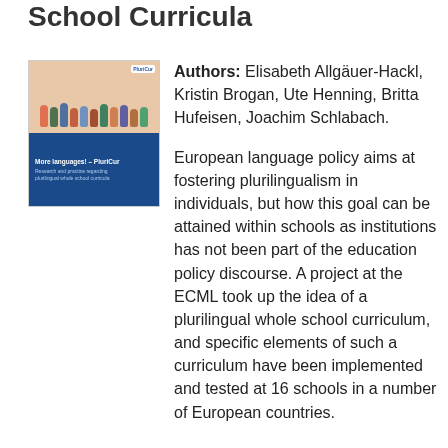School Curricula
[Figure (photo): Book cover image for 'More languages! – PluriCur' showing a group photo of students/people at the top and a blue lower section with the book title and subtitle about research and practice regarding plurilingual whole school curricula.]
Authors: Elisabeth Allgäuer-Hackl, Kristin Brogan, Ute Henning, Britta Hufeisen, Joachim Schlabach.
European language policy aims at fostering plurilingualism in individuals, but how this goal can be attained within schools as institutions has not been part of the education policy discourse. A project at the ECML took up the idea of a plurilingual whole school curriculum, and specific elements of such a curriculum have been implemented and tested at 16 schools in a number of European countries.